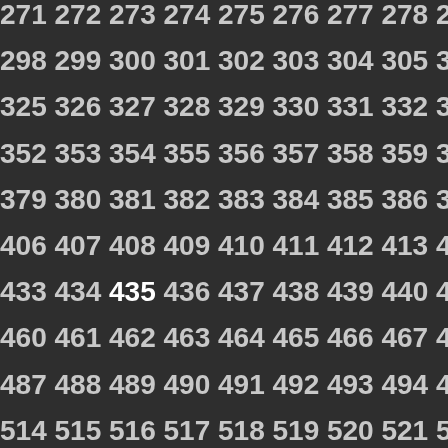Sequence of numbers from 271 to 900+, displayed in rows of approximately 10 numbers each, with 435 highlighted in white. The left half of the page is dark/empty and the right half shows the number grid.